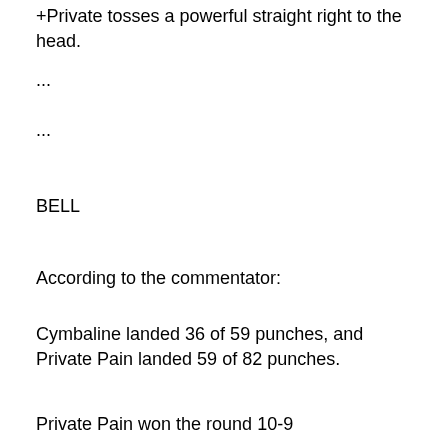+Private tosses a powerful straight right to the head.
...
...
BELL
According to the commentator:
Cymbaline landed 36 of 59 punches, and Private Pain landed 59 of 82 punches.
Private Pain won the round 10-9
Private Pain is winning the fight 58-56
Cymbaline remains standing while the trainer wipes him down. He has swelling above the right eye.